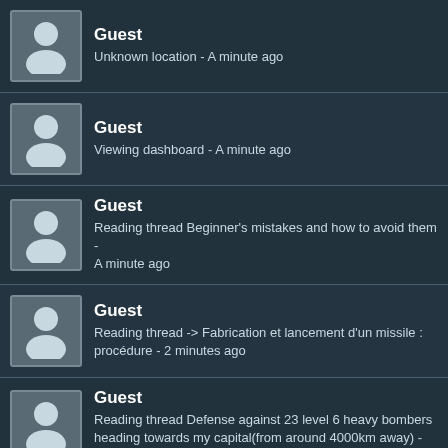Guest
Unknown location - A minute ago
Guest
Viewing dashboard - A minute ago
Guest
Reading thread Beginner's mistakes and how to avoid them - A minute ago
Guest
Reading thread -> Fabrication et lancement d'un missile : procédure - 2 minutes ago
Guest
Reading thread Defense against 23 level 6 heavy bombers heading towards my capital(from around 4000km away) - 2 minutes ago
Guest
Reading thread Healing - 2 minutes ago
Guest